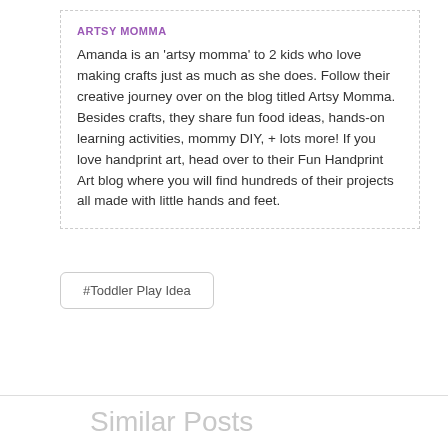ARTSY MOMMA
Amanda is an 'artsy momma' to 2 kids who love making crafts just as much as she does. Follow their creative journey over on the blog titled Artsy Momma. Besides crafts, they share fun food ideas, hands-on learning activities, mommy DIY, + lots more! If you love handprint art, head over to their Fun Handprint Art blog where you will find hundreds of their projects all made with little hands and feet.
#Toddler Play Idea
Similar Posts